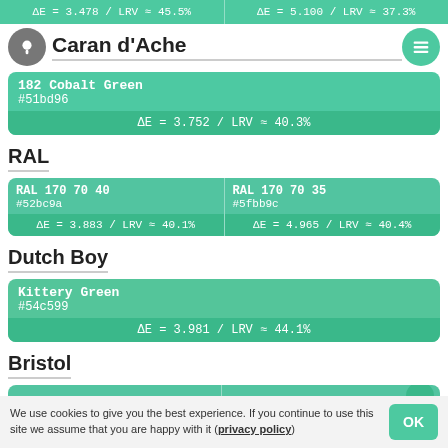ΔE = 3.478 / LRV ≈ 45.5%
ΔE = 5.100 / LRV ≈ 37.3%
Caran d'Ache
182 Cobalt Green
#51bd96
ΔE = 3.752 / LRV ≈ 40.3%
RAL
RAL 170 70 40
#52bc9a
ΔE = 3.883 / LRV ≈ 40.1%
RAL 170 70 35
#5fbb9c
ΔE = 4.965 / LRV ≈ 40.4%
Dutch Boy
Kittery Green
#54c599
ΔE = 3.981 / LRV ≈ 44.1%
Bristol
We use cookies to give you the best experience. If you continue to use this site we assume that you are happy with it (privacy policy)